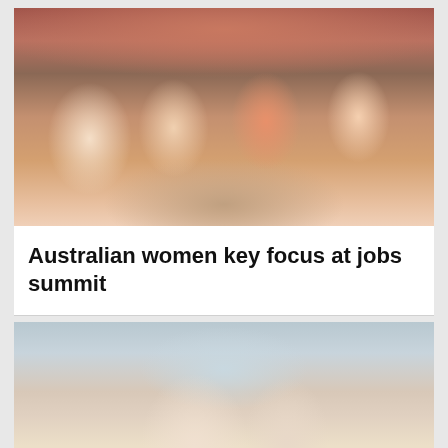[Figure (photo): Four women sitting around a table in a cafe with brick walls, engaged in conversation. One woman in an orange top, one in a dark blazer, one partially visible on the left, and one on the right in a light top.]
Australian women key focus at jobs summit
[Figure (photo): An older man and woman with grey hair, shown from the shoulders up against a light blue background, facing each other in profile.]